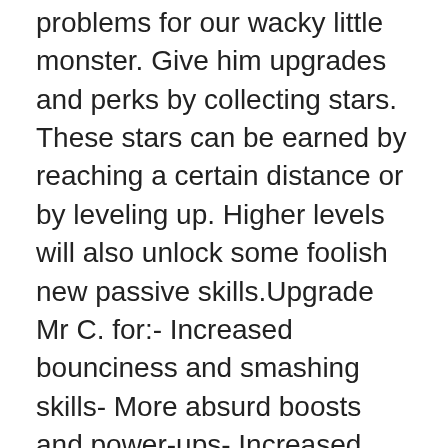problems for our wacky little monster. Give him upgrades and perks by collecting stars. These stars can be earned by reaching a certain distance or by leveling up. Higher levels will also unlock some foolish new passive skills.Upgrade Mr C. for:- Increased bounciness and smashing skills- More absurd boosts and power-ups- Increased speed and altitudeThe Mini GamesThis goofy cartoon will keep you hooked due to the humorous gameplay and silly Mini Games. Unlock the following absurd, yet entertaining mini games by leveling up your critter:- Floor is Lava- you're drunk Mr. C.- Soviet Critter- Duck and Cover!- Flappy BattyThe Fun & GigglesKick the Critter – Smash Him is a goofy 'puzzle' meets 'arcade' kind of game with a colorful 2D art style and a fast-paced soundtrack. Smash